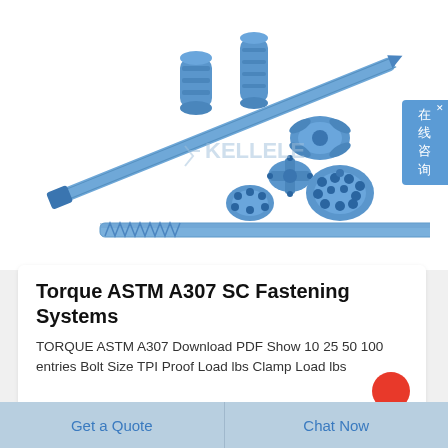[Figure (photo): Blue drilling tools and rock drill bits arranged on white background — includes a long drill rod, coupling sleeves, button bits, cross bits, and chisel bits all in blue color. A KELLELE watermark is visible.]
Torque ASTM A307 SC Fastening Systems
TORQUE ASTM A307 Download PDF Show 10 25 50 100 entries Bolt Size TPI Proof Load lbs Clamp Load lbs
Get a Quote
Chat Now